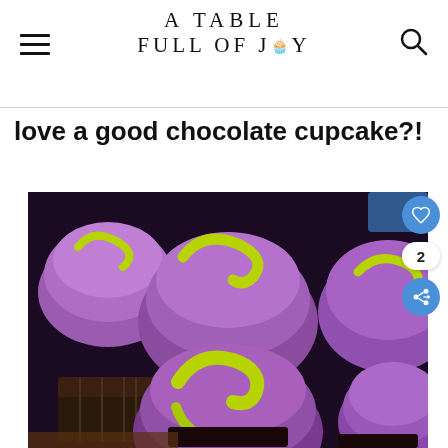A TABLE FULL OF JOY
love a good chocolate cupcake?!
[Figure (photo): Close-up photo of chocolate cupcakes topped with purple/violet frosting and green candy decorations shaped like letters or symbols, arranged on a wooden surface.]